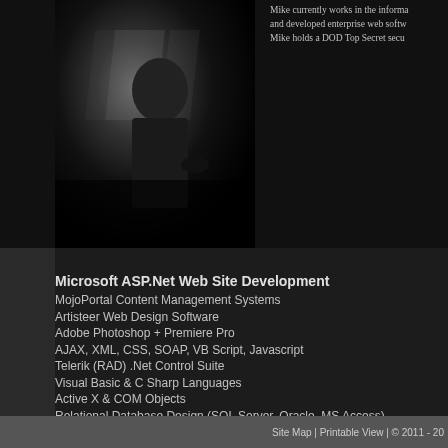[Figure (photo): Black and white photo of a person in dramatic shadow and light, seated near a window]
Mike currently works in the informa and developed enterprise web softw Mike holds a DOD Top Secret secu
Microsoft ASP.Net Web Site Development
MojoPortal Content Management Systems
Artisteer Web Design Software
Adobe Photoshop + Premiere Pro
AJAX, XML, CSS, SOAP, VB Script, Javascript
Telerik (RAD) .Net Control Suite
Visual Basic & C Sharp Languages
Active X & COM Objects
Relational Database Design (SQL Server, Oracle, MS Access)
SQL Reporting Services
.NET Compact Framework (for Windows Mobile Devices)
Microsoft Windows Mobile Phone Application Development
Microsoft Hosting Environments
Windows Server Architecture
Windows Security Model
Photography & Videography
* Setup & Installation of Wireless IP Pet Cam/Security Systems
Site Map | Printable View | © 2011 - 20